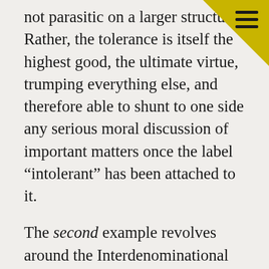not parasitic on a larger structure. Rather, the tolerance is itself the highest good, the ultimate virtue, trumping everything else, and therefore able to shunt to one side any serious moral discussion of important matters once the label “intolerant” has been attached to it.
The second example revolves around the Interdenominational Theological Center (ITC) in Atlanta. A coalition of (currently) six historically African-American seminaries from diverse denominations, ITC earned its charter in 1958. From the beginning it pursued an ecumenical focus, but in recent years it has prided itself in its gay theology, womanist theology, post-colonial theology, and liberation theology. Most of its students are African American, so a good